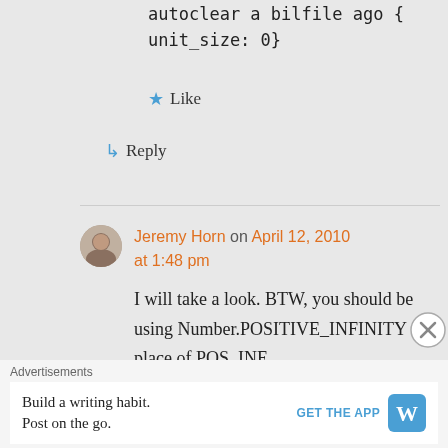autoclear a bilfile ago { unit_size: 0}
★ Like
↳ Reply
Jeremy Horn on April 12, 2010 at 1:48 pm
I will take a look. BTW, you should be using Number.POSITIVE_INFINITY in place of POS_INF.
Advertisements
Build a writing habit. Post on the go. GET THE APP